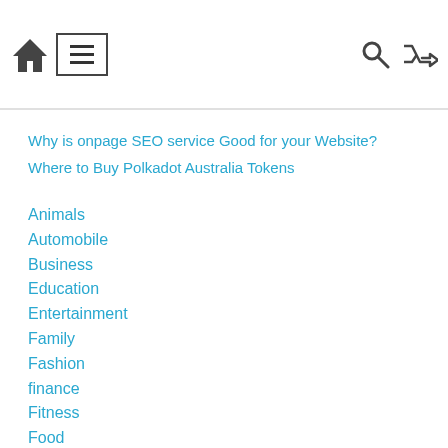Navigation bar with home, menu, search, and shuffle icons
Why is onpage SEO service Good for your Website?
Where to Buy Polkadot Australia Tokens
Animals
Automobile
Business
Education
Entertainment
Family
Fashion
finance
Fitness
Food